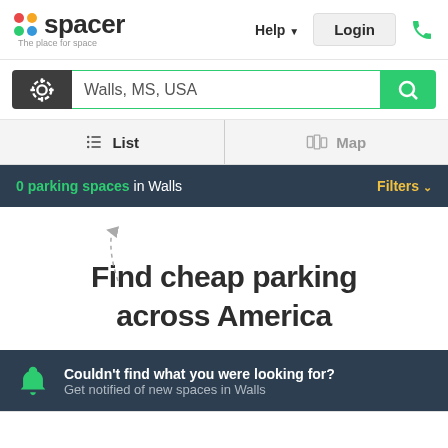[Figure (screenshot): Spacer website header with colorful dot logo, tagline 'The place for space', Help button with dropdown arrow, Login button, and green phone icon]
[Figure (screenshot): Search bar with dark location/GPS button, text input showing 'Walls, MS, USA', and green search button with magnifying glass icon]
[Figure (screenshot): Navigation tabs: List (active, with list icon) and Map (with map icon), separated by vertical divider]
0 parking spaces in Walls
Filters
Find cheap parking across America
Couldn't find what you were looking for? Get notified of new spaces in Walls